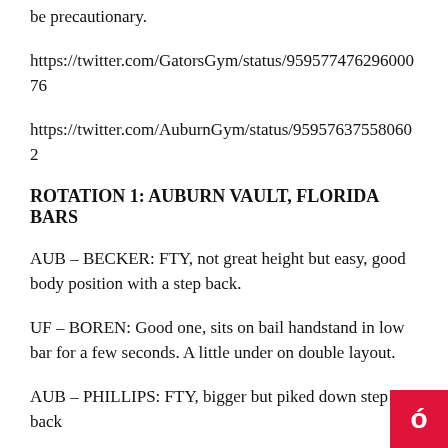be precautionary.
https://twitter.com/GatorsGym/status/95957747629600076
https://twitter.com/AuburnGym/status/959576375580602
ROTATION 1: AUBURN VAULT, FLORIDA BARS
AUB – BECKER: FTY, not great height but easy, good body position with a step back.
UF – BOREN: Good one, sits on bail handstand in low bar for a few seconds. A little under on double layout.
AUB – PHILLIPS: FTY, bigger but piked down step back
UF – BAKER: Great smooth routine, missed a handstand